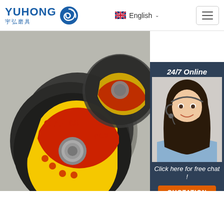YUHONG 宇弘磨具 — English
[Figure (photo): Multiple black cutting/grinding discs (CutFlex, Inox brand) with yellow and red label centers, stacked and displayed at an angle on a white background. Right side shows a chat widget with a customer service agent photo.]
[Figure (infographic): Top button with orange dots forming a triangle and orange 'TOP' text]
Sasafrasflowers
Required Cookies & Technologies. Some of the technologies we use are necessary for critical functions